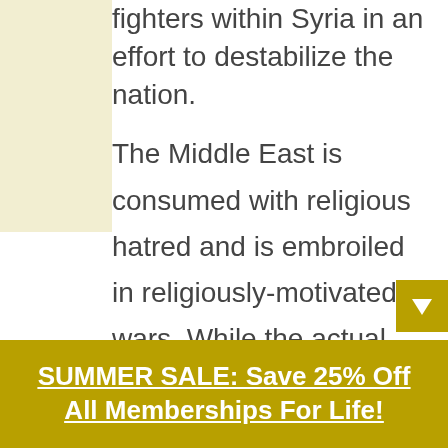fighters within Syria in an effort to destabilize the nation.
The Middle East is consumed with religious hatred and is embroiled in religiously-motivated wars. While the actual tensions are economic in nature (like pipelines, resources, etc.), they are exacerabated by religious hatred.
Sunnis currently enjoy dominance,
SUMMER SALE: Save 25% Off All Memberships For Life!